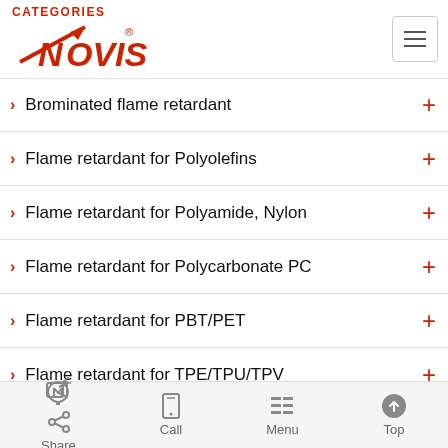CATEGORIES — Novista logo and hamburger menu
Brominated flame retardant
Flame retardant for Polyolefins
Flame retardant for Polyamide, Nylon
Flame retardant for Polycarbonate PC
Flame retardant for PBT/PET
Flame retardant for TPE/TPU/TPV
Flame retardant for EPS/XPS
Flame retardant for Polyurethane PU
Share  Call  Menu  Top